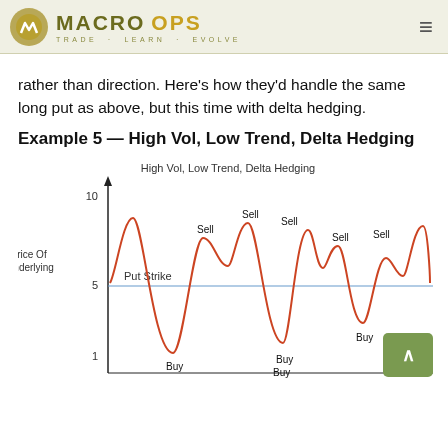MACRO OPS — TRADE · LEARN · EVOLVE
rather than direction. Here's how they'd handle the same long put as above, but this time with delta hedging.
Example 5 — High Vol, Low Trend, Delta Hedging
[Figure (continuous-plot): Line chart showing the Price Of Underlying oscillating around the Put Strike line at 5, with Buy and Sell labels at the troughs and peaks respectively. The price starts near the Put Strike, dips down (Buy), rises back above strike (Sell), repeats multiple times with decreasing amplitude variation, ending near the strike level.]